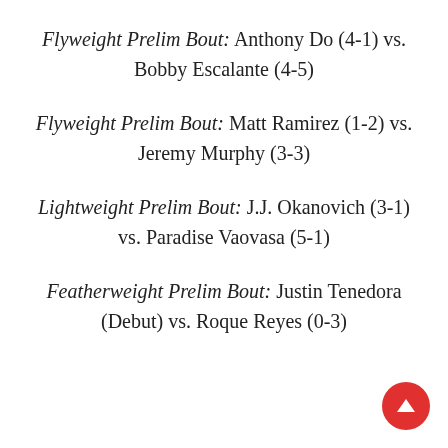Flyweight Prelim Bout: Anthony Do (4-1) vs. Bobby Escalante (4-5)
Flyweight Prelim Bout: Matt Ramirez (1-2) vs. Jeremy Murphy (3-3)
Lightweight Prelim Bout: J.J. Okanovich (3-1) vs. Paradise Vaovasa (5-1)
Featherweight Prelim Bout: Justin Tenedora (Debut) vs. Roque Reyes (0-3)